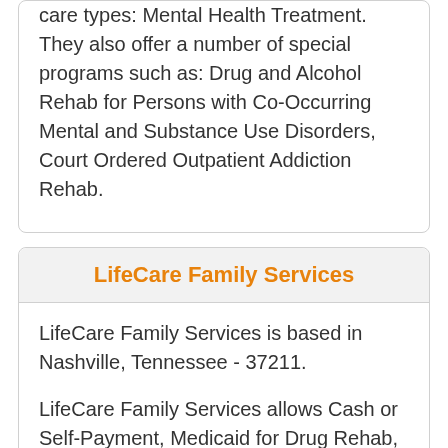care types: Mental Health Treatment. They also offer a number of special programs such as: Drug and Alcohol Rehab for Persons with Co-Occurring Mental and Substance Use Disorders, Court Ordered Outpatient Addiction Rehab.
LifeCare Family Services
LifeCare Family Services is based in Nashville, Tennessee - 37211.
LifeCare Family Services allows Cash or Self-Payment, Medicaid for Drug Rehab, Medicare for these treatment approaches: